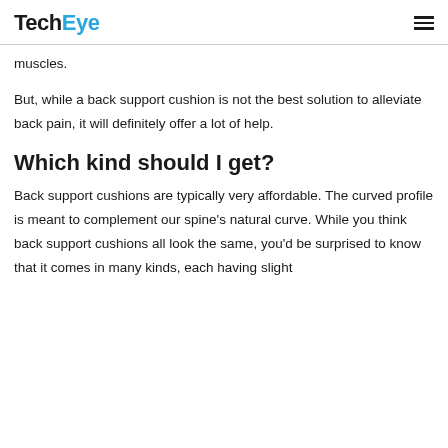TechEye
muscles.
But, while a back support cushion is not the best solution to alleviate back pain, it will definitely offer a lot of help.
Which kind should I get?
Back support cushions are typically very affordable. The curved profile is meant to complement our spine's natural curve. While you think back support cushions all look the same, you'd be surprised to know that it comes in many kinds, each having slight